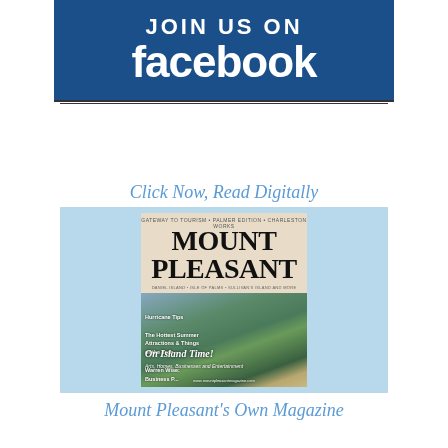[Figure (logo): JOIN US ON facebook banner with white text on dark blue background]
Click Now, Read Digitally
[Figure (photo): Mount Pleasant magazine cover with aerial coastal photo. Title reads MOUNT PLEASANT. Tagline: On Island Time! Arts, Homes, Businesses and Entertainment.]
Mount Pleasant's Own Magazine